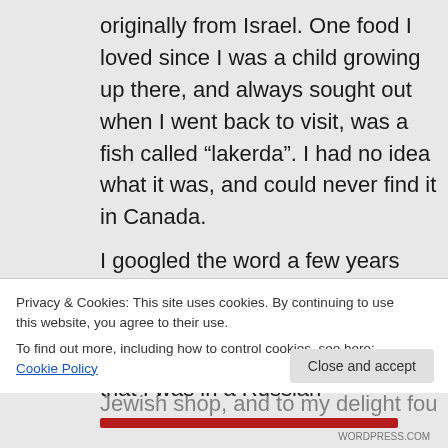originally from Israel. One food I loved since I was a child growing up there, and always sought out when I went back to visit, was a fish called “Lakerda”. I had no idea what it was, and could never find it in Canada.
I googled the word a few years ago in another attempt to find it, and found reference to it meaning “mackerel” in Greek. Shortly after that I was in a Russian-Jewish shop, and to my delight found sold
Privacy & Cookies: This site uses cookies. By continuing to use this website, you agree to their use.
To find out more, including how to control cookies, see here: Cookie Policy